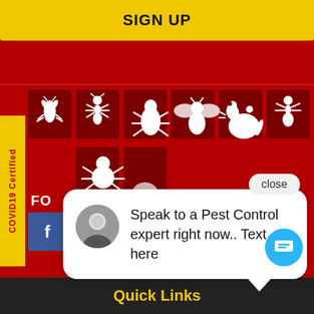SIGN UP
COVID19 Certified
[Figure (screenshot): Grid of pest control icons (cockroach, ant, flea, fly, mouse, termite, spider) on dark red background tiles]
close
Speak to a Pest Control expert right now.. Text here
FO
[Figure (infographic): Social media share buttons: Facebook, Twitter, LinkedIn, Google+, YouTube]
[Figure (infographic): Blue circular chat button with message icon]
Quick Links